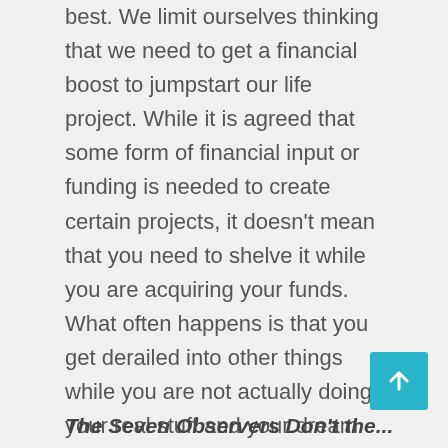best. We limit ourselves thinking that we need to get a financial boost to jumpstart our life project. While it is agreed that some form of financial input or funding is needed to create certain projects, it doesn't mean that you need to shelve it while you are acquiring your funds. What often happens is that you get derailed into other things while you are not actually doing your real stuff and your dream becomes only that — a 'dream'. Other times, the financial aspect becomes an excuse to procrastinate or else we do not realise that the situation is not as bad as we fear and that for instance quitting your full-time job to get on your project is not half as financially strenuous as you may believe.
The Seven Observers Don't the...